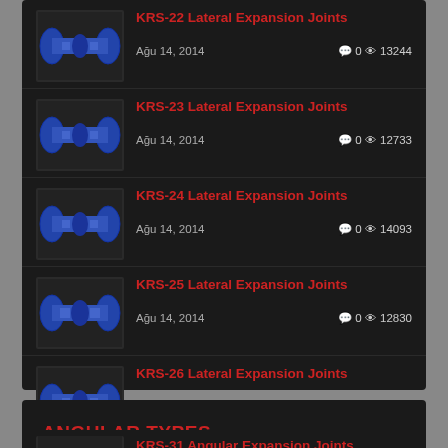KRS-22 Lateral Expansion Joints — Ağu 14, 2014 — 0 comments, 13244 views
KRS-23 Lateral Expansion Joints — Ağu 14, 2014 — 0 comments, 12733 views
KRS-24 Lateral Expansion Joints — Ağu 14, 2014 — 0 comments, 14093 views
KRS-25 Lateral Expansion Joints — Ağu 14, 2014 — 0 comments, 12830 views
KRS-26 Lateral Expansion Joints — Ağu 14, 2014 — 0 comments, 4436 views
ANGULAR TYPES
KRS-31 Angular Expansion Joints